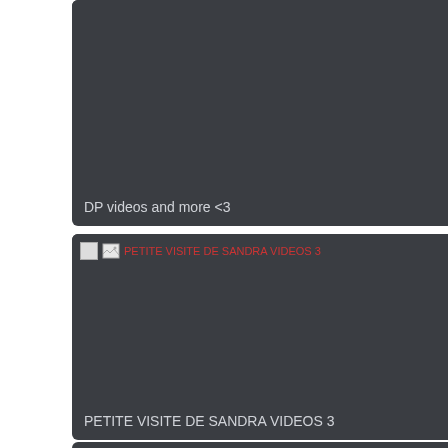[Figure (screenshot): Dark card with broken image placeholder and text 'DP videos and more <3']
DP videos and more <3
[Figure (screenshot): Dark card with broken image placeholder linking to 'PETITE VISITE DE SANDRA VIDEOS 3']
PETITE VISITE DE SANDRA VIDEOS 3
[Figure (screenshot): Dark card with broken image placeholder linking to 'More videos of this girl?']